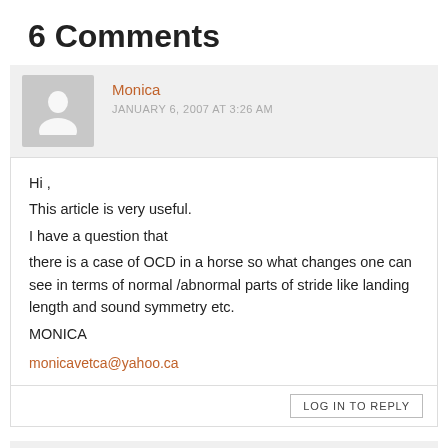6 Comments
Monica
JANUARY 6, 2007 AT 3:26 AM
Hi ,
This article is very useful.
I have a question that
there is a case of OCD in a horse so what changes one can see in terms of normal /abnormal parts of stride like landing length and sound symmetry etc.
MONICA
monicavetca@yahoo.ca
LOG IN TO REPLY
Monica
JANUARY 6, 2007 AT 3:27 AM